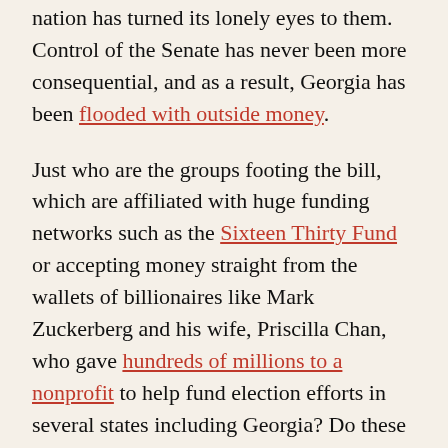nation has turned its lonely eyes to them. Control of the Senate has never been more consequential, and as a result, Georgia has been flooded with outside money.
Just who are the groups footing the bill, which are affiliated with huge funding networks such as the Sixteen Thirty Fund or accepting money straight from the wallets of billionaires like Mark Zuckerberg and his wife, Priscilla Chan, who gave hundreds of millions to a nonprofit to help fund election efforts in several states including Georgia? Do these people care about what happens to Georgians after the banners and slogans have been packed up and the election is over?
Perdue vs. Ossoff
The tidal wave of money crashing into Georgia from outside the state raises the concern that the interests of